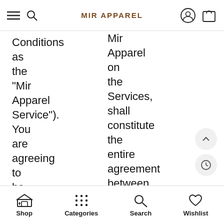MIR APPAREL
Conditions as the “Mir Apparel Service”). You are agreeing to be bound by these
Mir Apparel on the Services, shall constitute the entire agreement between you and Mir
Shop | Categories | Search | Wishlist